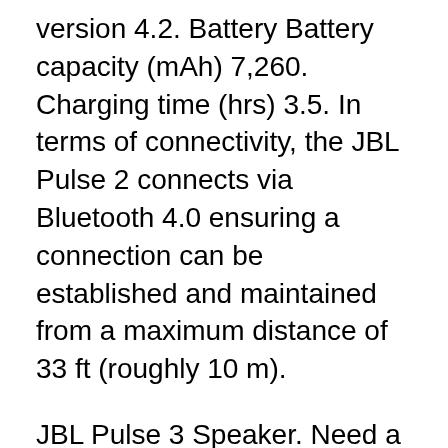version 4.2. Battery Battery capacity (mAh) 7,260. Charging time (hrs) 3.5. In terms of connectivity, the JBL Pulse 2 connects via Bluetooth 4.0 ensuring a connection can be established and maintained from a maximum distance of 33 ft (roughly 10 m).
JBL Pulse 3 Speaker. Need a manual for your JBL Pulse 3 Speaker? Below you can view and download the PDF manual for free. There are also frequently asked questions, a product rating and feedback from users to enable you to optimally use your product. Apr 11, 2016B B· JBL Pulse 2 Bluetooth Speaker - Tech Review If you were hoping that the Pulse 2 would have significant